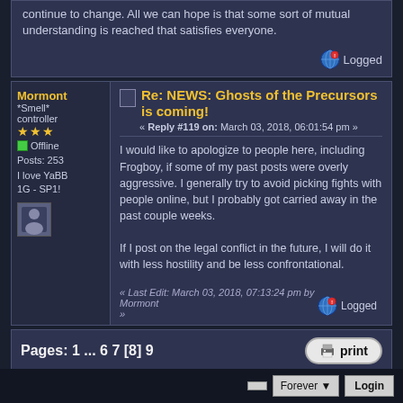continue to change. All we can hope is that some sort of mutual understanding is reached that satisfies everyone.
Logged
Mormont
*Smell* controller
Offline
Posts: 253
I love YaBB 1G - SP1!
Re: NEWS: Ghosts of the Precursors is coming!
« Reply #119 on: March 03, 2018, 06:01:54 pm »
I would like to apologize to people here, including Frogboy, if some of my past posts were overly aggressive. I generally try to avoid picking fights with people online, but I probably got carried away in the past couple weeks.

If I post on the legal conflict in the future, I will do it with less hostility and be less confrontational.
« Last Edit: March 03, 2018, 07:13:24 pm by Mormont »
Logged
Pages: 1 ... 6 7 [8] 9
print
« previous next »
Jump to:  => General UQM Discussion   go
Forever   Login